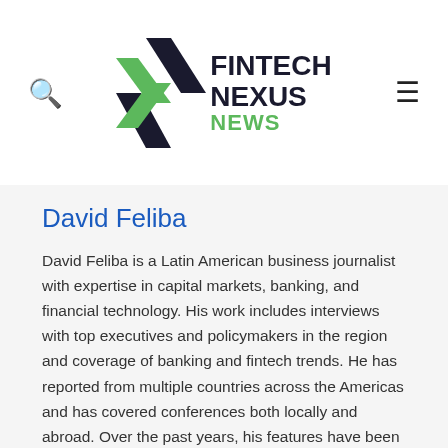Fintech Nexus News
David Feliba
David Feliba is a Latin American business journalist with expertise in capital markets, banking, and financial technology. His work includes interviews with top executives and policymakers in the region and coverage of banking and fintech trends. He has reported from multiple countries across the Americas and has covered conferences both locally and abroad. Over the past years, his features have been frequently published in leading local and international news outlets. Some of it can be read